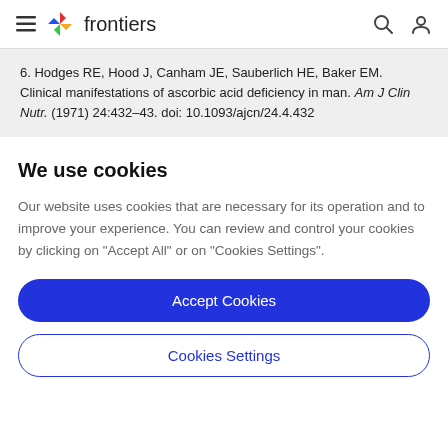frontiers
6. Hodges RE, Hood J, Canham JE, Sauberlich HE, Baker EM. Clinical manifestations of ascorbic acid deficiency in man. Am J Clin Nutr. (1971) 24:432–43. doi: 10.1093/ajcn/24.4.432
We use cookies
Our website uses cookies that are necessary for its operation and to improve your experience. You can review and control your cookies by clicking on "Accept All" or on "Cookies Settings".
Accept Cookies
Cookies Settings